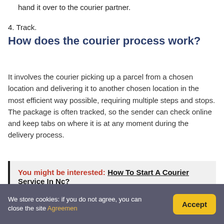hand it over to the courier partner.
4. Track.
How does the courier process work?
It involves the courier picking up a parcel from a chosen location and delivering it to another chosen location in the most efficient way possible, requiring multiple steps and stops. The package is often tracked, so the sender can check online and keep tabs on where it is at any moment during the delivery process.
You might be interested: How To Start A Courier Service In Nc?
We store cookies: if you do not agree, you can close the site Agreemen